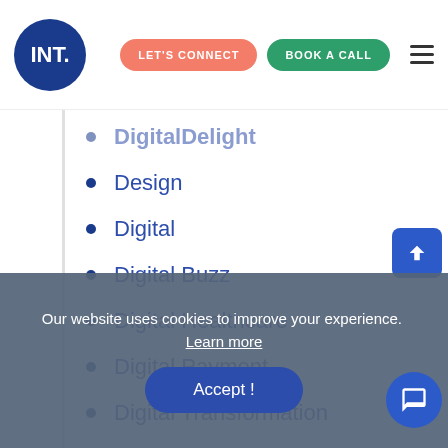INT. | LET'S CONNECT | BOOK A CALL
DigitalDelight
Design
Digital
Digital Buzz
Digital Healthcare
Digital Payment
Digital Transformation
DigitalSuccess
Enter...
Our website uses cookies to improve your experience. Learn more
Accept !